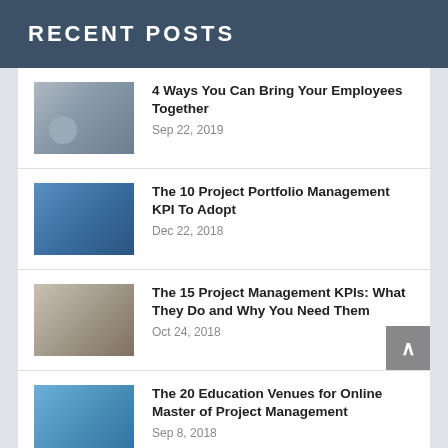RECENT POSTS
4 Ways You Can Bring Your Employees Together
Sep 22, 2019
The 10 Project Portfolio Management KPI To Adopt
Dec 22, 2018
The 15 Project Management KPIs: What They Do and Why You Need Them
Oct 24, 2018
The 20 Education Venues for Online Master of Project Management
Sep 8, 2018
How To Build An Effective Project Portfolio Management ?